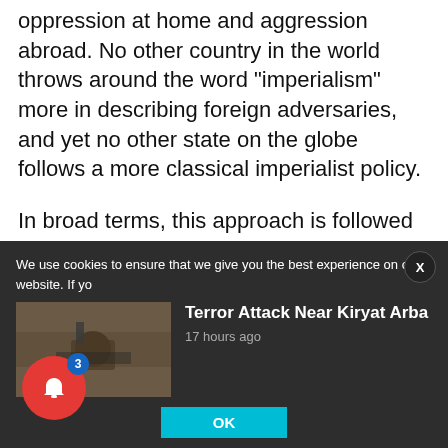oppression at home and aggression abroad. No other country in the world throws around the word “imperialism” more in describing foreign adversaries, and yet no other state on the globe follows a more classical imperialist policy.
In broad terms, this approach is followed by most, if not all, Arab governments, but Syria offers the purest example of the system. As for the consequences, two basic principles are useful to keep in mind:
We use cookies to ensure that we give you the best experience on our website. If yo
[Figure (photo): Thumbnail image of a soldier or armed person in military gear, used as a news article image]
Terror Attack Near Kiryat Arba
17 hours ago